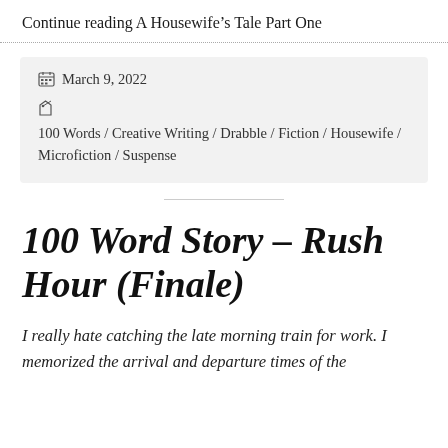Continue reading A Housewife's Tale Part One
March 9, 2022
100 Words / Creative Writing / Drabble / Fiction / Housewife / Microfiction / Suspense
100 Word Story – Rush Hour (Finale)
I really hate catching the late morning train for work. I memorized the arrival and departure times of the